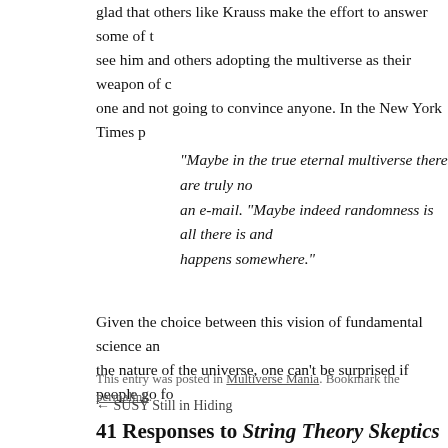glad that others like Krauss make the effort to answer some of the see him and others adopting the multiverse as their weapon of c one and not going to convince anyone. In the New York Times p
“Maybe in the true eternal multiverse there are truly no an e-mail. “Maybe indeed randomness is all there is and happens somewhere.”
Given the choice between this vision of fundamental science an the nature of the universe, one can’t be surprised if people go fo
This entry was posted in Multiverse Mania. Bookmark the permalink.
← SUSY Still in Hiding
41 Responses to String Theory Skeptics an
Low Math, Meekly Interacting says: February 21, 2012 at 5:41 pm